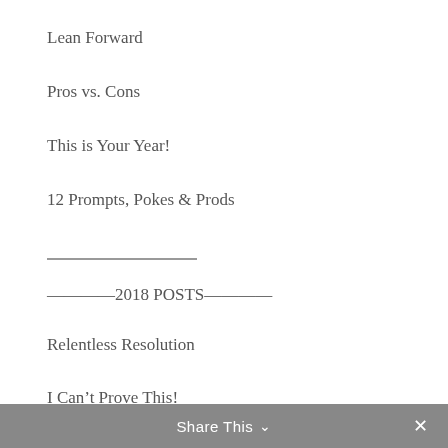Lean Forward
Pros vs. Cons
This is Your Year!
12 Prompts, Pokes & Prods
————2018 POSTS————
Relentless Resolution
I Can't Prove This!
Outta the Box
Stuck In Time
One Red-Hot Iron
Hazardous Assumptions
Share This ∨ ✕